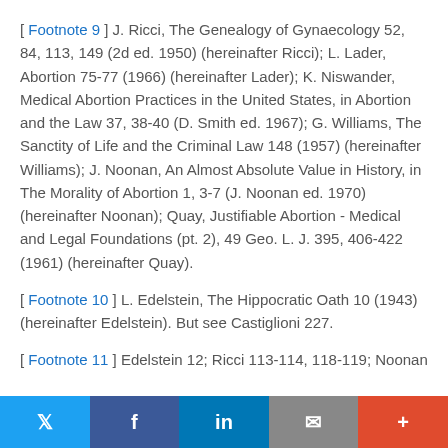[ Footnote 9 ] J. Ricci, The Genealogy of Gynaecology 52, 84, 113, 149 (2d ed. 1950) (hereinafter Ricci); L. Lader, Abortion 75-77 (1966) (hereinafter Lader); K. Niswander, Medical Abortion Practices in the United States, in Abortion and the Law 37, 38-40 (D. Smith ed. 1967); G. Williams, The Sanctity of Life and the Criminal Law 148 (1957) (hereinafter Williams); J. Noonan, An Almost Absolute Value in History, in The Morality of Abortion 1, 3-7 (J. Noonan ed. 1970) (hereinafter Noonan); Quay, Justifiable Abortion - Medical and Legal Foundations (pt. 2), 49 Geo. L. J. 395, 406-422 (1961) (hereinafter Quay).
[ Footnote 10 ] L. Edelstein, The Hippocratic Oath 10 (1943) (hereinafter Edelstein). But see Castiglioni 227.
[ Footnote 11 ] Edelstein 12; Ricci 113-114, 118-119; Noonan